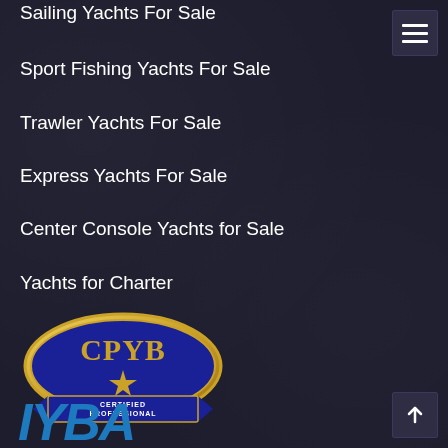Sailing Yachts For Sale
Sport Fishing Yachts For Sale
Trawler Yachts For Sale
Express Yachts For Sale
Center Console Yachts for Sale
Yachts for Charter
[Figure (logo): CPYB - Certified Professional Yacht Broker logo: blue oval with gold letters CPYB, gold star, blue banner ribbon with text CERTIFIED PROFESSIONAL YACHT BROKER]
[Figure (logo): IYBA logo in blue stylized letters]